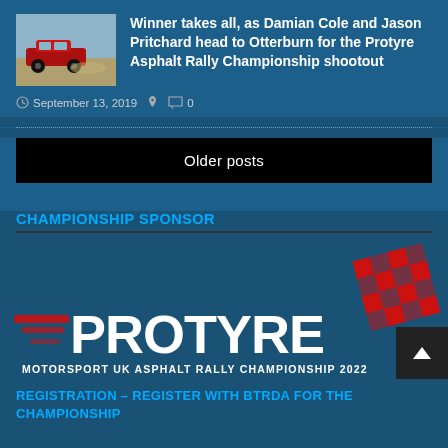[Figure (photo): Red rally car on dirt track, thumbnail image]
Winner takes all, as Damian Cole and Jason Pritchard head to Otterburn for the Protyre Asphalt Rally Championship shootout
September 13, 2019   0
Older posts
CHAMPIONSHIP SPONSOR
[Figure (logo): Protyre Motorsport UK Asphalt Rally Championship 2022 logo with red checkered flag]
REGISTRATION – REGISTER WITH BTRDA FOR THE CHAMPIONSHIP